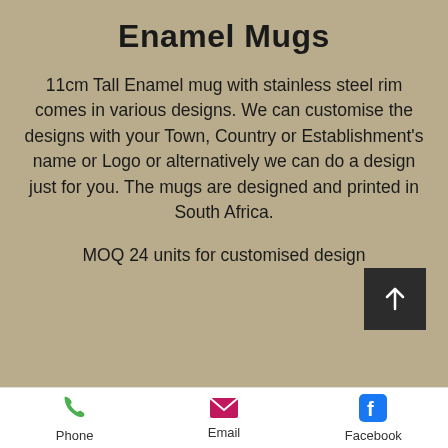Enamel Mugs
11cm Tall Enamel mug with stainless steel rim comes in various designs. We can customise the designs with your Town, Country or Establishment’s name or Logo or alternatively we can do a design just for you.  The mugs are designed and printed in South Africa.
MOQ 24 units for customised design
Phone  Email  Facebook